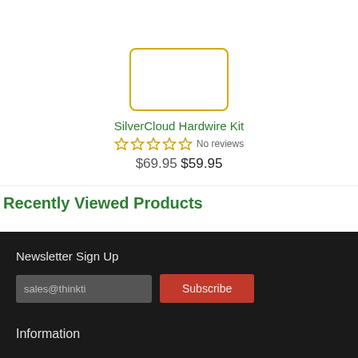[Figure (other): Product image placeholder with yellow/gold rounded rectangle border for SilverCloud Hardwire Kit]
SilverCloud Hardwire Kit
☆☆☆☆☆ No reviews
$69.95 $59.95
Recently Viewed Products
Newsletter Sign Up
sales@thinkti
Subscribe
Information